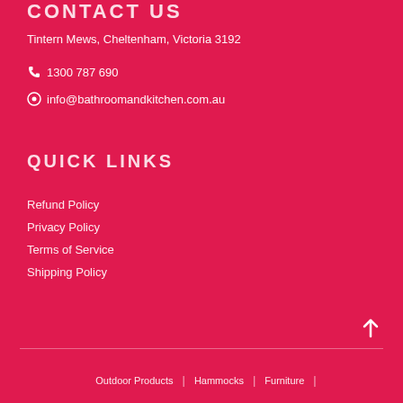CONTACT US
Tintern Mews, Cheltenham, Victoria 3192
1300 787 690
info@bathroomandkitchen.com.au
QUICK LINKS
Refund Policy
Privacy Policy
Terms of Service
Shipping Policy
Outdoor Products | Hammocks | Furniture |